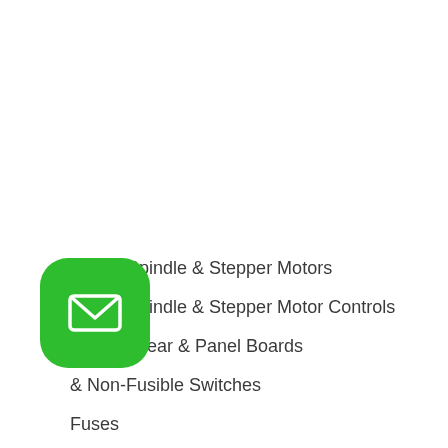Servo, Spindle & Stepper Motors
Servo, Spindle & Stepper Motor Controls
c Switchgear & Panel Boards
e & Non-Fusible Switches
Fuses